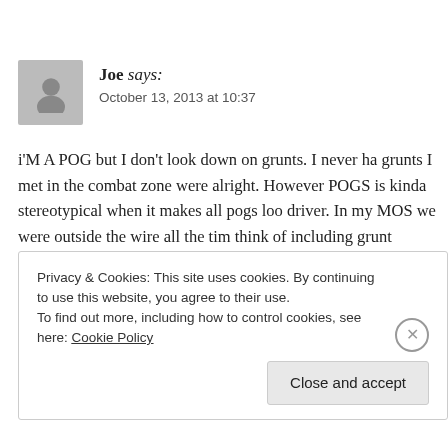Joe says:
October 13, 2013 at 10:37
i'M A POG but I don't look down on grunts. I never ha... grunts I met in the combat zone were alright. However POGS is kinda stereotypical when it makes all pogs loo... driver. In my MOS we were outside the wire all the tim... think of including grunt equipment. Sure we don't have don't exactly sit in a a/c tent all day doing paper work.
Privacy & Cookies: This site uses cookies. By continuing to use this website, you agree to their use.
To find out more, including how to control cookies, see here: Cookie Policy
Close and accept